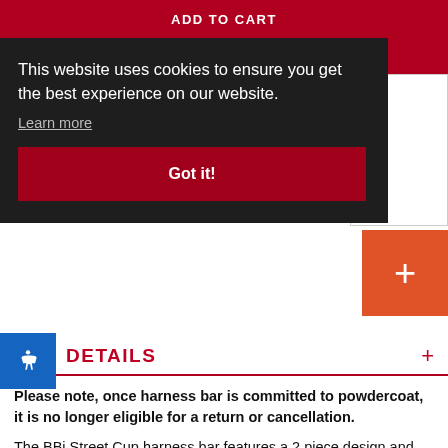ADD TO CART
This website uses cookies to ensure you get the best experience on our website.
Learn more
Got it!
DETAILS
Please note, once harness bar is committed to powdercoat, it is no longer eligible for a return or cancellation.
The BBi Street Cup harness bar features a 2 piece design and high strength seamless tubing (1.75" x 0.095, 1.5" x 0.083) for excellent strength to weight ratio. With our sensible design approach, the 2 piece design mounts to frame structure, utilizing factory bolts, to provide strongest mounting points and